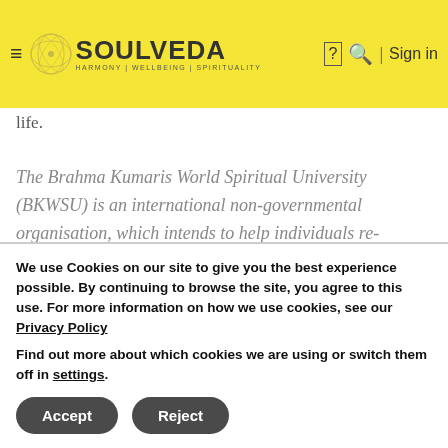Soulveda — HARMONY | WELLBEING | SPIRITUALITY
feeling of lack of progress, or even the worse feeling that we are not in control of our own life.
The Brahma Kumaris World Spiritual University (BKWSU) is an international non-governmental organisation, which intends to help individuals re-discover and strengthen their inherent worth by encouraging and
We use Cookies on our site to give you the best experience possible. By continuing to browse the site, you agree to this use. For more information on how we use cookies, see our Privacy Policy
Find out more about which cookies we are using or switch them off in settings.